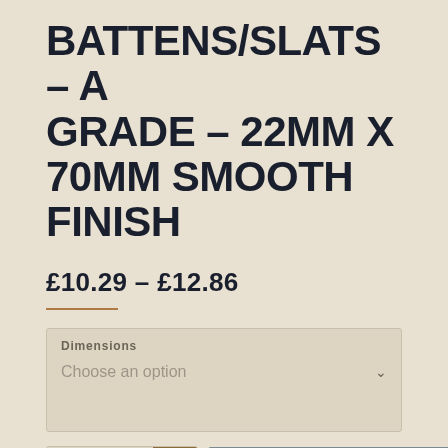BATTENS/SLATS – A GRADE – 22MM X 70MM SMOOTH FINISH
£10.29 – £12.86
Dimensions  Choose an option
1  ADD TO CART